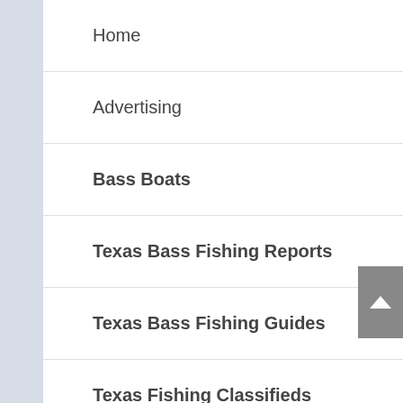Home
Advertising
Bass Boats
Texas Bass Fishing Reports
Texas Bass Fishing Guides
Texas Fishing Classifieds
- Login/Register